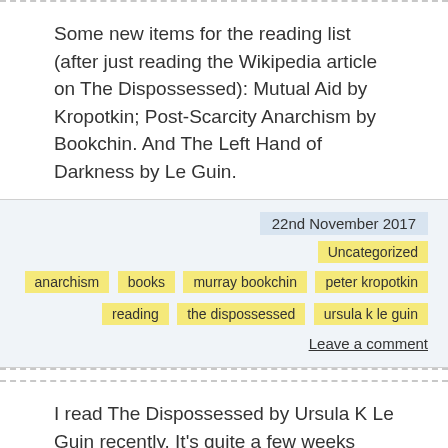Some new items for the reading list (after just reading the Wikipedia article on The Dispossessed): Mutual Aid by Kropotkin; Post-Scarcity Anarchism by Bookchin. And The Left Hand of Darkness by Le Guin.
22nd November 2017
Uncategorized
anarchism  books  murray bookchin  peter kropotkin  reading  the dispossessed  ursula k le guin
Leave a comment
I read The Dispossessed by Ursula K Le Guin recently. It's quite a few weeks since I finished it, so